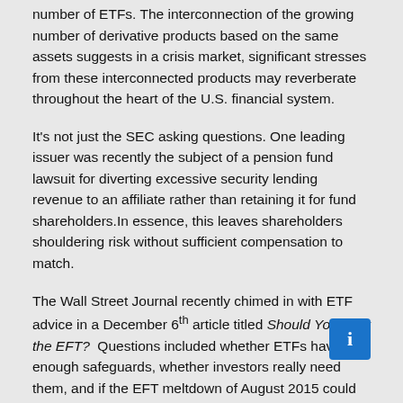number of ETFs. The interconnection of the growing number of derivative products based on the same assets suggests in a crisis market, significant stresses from these interconnected products may reverberate throughout the heart of the U.S. financial system.
It's not just the SEC asking questions. One leading issuer was recently the subject of a pension fund lawsuit for diverting excessive security lending revenue to an affiliate rather than retaining it for fund shareholders.In essence, this leaves shareholders shouldering risk without sufficient compensation to match.
The Wall Street Journal recently chimed in with ETF advice in a December 6th article titled Should You Fear the EFT? Questions included whether ETFs have enough safeguards, whether investors really need them, and if the EFT meltdown of August 2015 could happen again. Even Vanguard issued a Best Practices for ETF Trading: Seven Rules of the Road a cautionary approach for investors who use these products.
When global regulators, sophisticated investors and respected